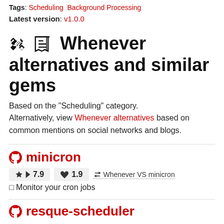Tags: Scheduling  Background Processing
Latest version: v1.0.0
🔀 Whenever alternatives and similar gems
Based on the "Scheduling" category. Alternatively, view Whenever alternatives based on common mentions on social networks and blogs.
minicron
★ 7.9   ♥ 1.9   ⇌ Whenever VS minicron
□ Monitor your cron jobs
resque-scheduler